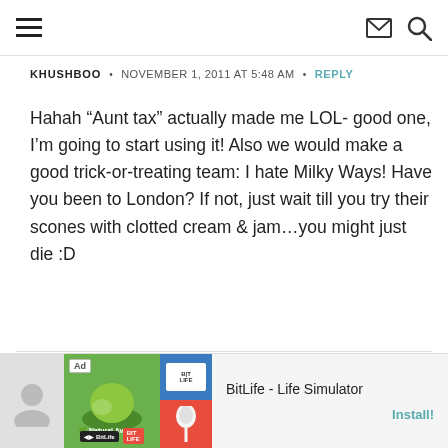navigation header with hamburger menu, envelope icon, and search icon
KHUSHBOO • NOVEMBER 1, 2011 AT 5:48 AM • REPLY
Hahah “Aunt tax” actually made me LOL- good one, I’m going to start using it! Also we would make a good trick-or-treating team: I hate Milky Ways! Have you been to London? If not, just wait till you try their scones with clotted cream & jam…you might just die :D
[Figure (infographic): BitLife - Life Simulator advertisement banner with game screenshots and Install button]